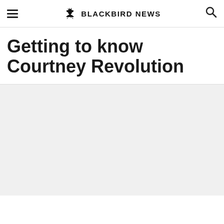BLACKBIRD NEWS
Getting to know Courtney Revolution
[Figure (other): Light gray content area placeholder below article title]